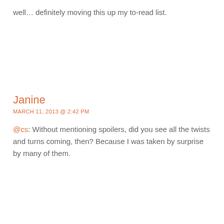well… definitely moving this up my to-read list.
Janine
MARCH 11, 2013 @ 2:42 PM
@cs: Without mentioning spoilers, did you see all the twists and turns coming, then? Because I was taken by surprise by many of them.